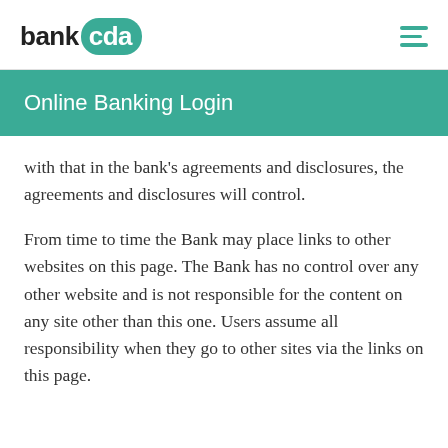bank cda
Online Banking Login
with that in the bank’s agreements and disclosures, the agreements and disclosures will control.
From time to time the Bank may place links to other websites on this page. The Bank has no control over any other website and is not responsible for the content on any site other than this one. Users assume all responsibility when they go to other sites via the links on this page.